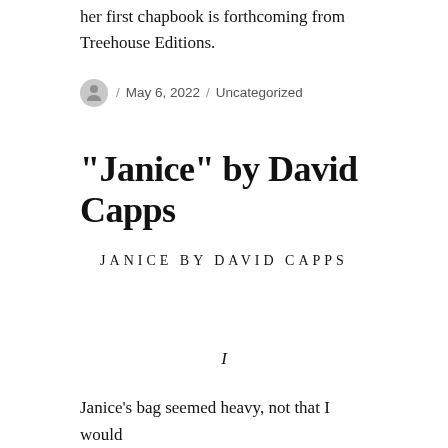her first chapbook is forthcoming from Treehouse Editions.
/ May 6, 2022 / Uncategorized
“Janice” by David Capps
JANICE BY DAVID CAPPS
I
Janice’s bag seemed heavy, not that I would